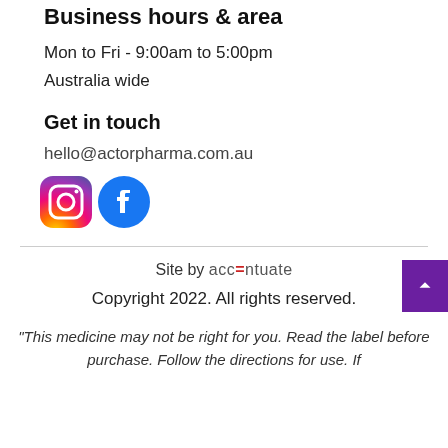Business hours & area
Mon to Fri - 9:00am to 5:00pm
Australia wide
Get in touch
hello@actorpharma.com.au
[Figure (logo): Instagram and Facebook social media icons]
Site by accentuate
Copyright 2022. All rights reserved.
"This medicine may not be right for you. Read the label before purchase. Follow the directions for use. If